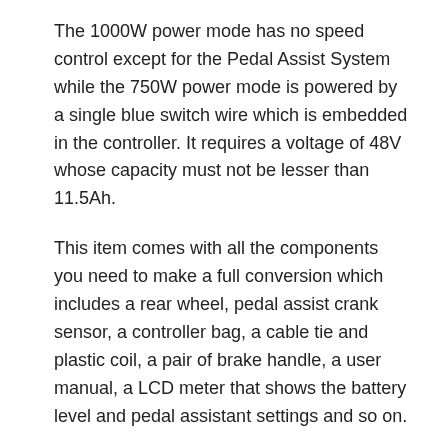The 1000W power mode has no speed control except for the Pedal Assist System while the 750W power mode is powered by a single blue switch wire which is embedded in the controller. It requires a voltage of 48V whose capacity must not be lesser than 11.5Ah.
This item comes with all the components you need to make a full conversion which includes a rear wheel, pedal assist crank sensor, a controller bag, a cable tie and plastic coil, a pair of brake handle, a user manual, a LCD meter that shows the battery level and pedal assistant settings and so on.
Pros
Comes with a user manual